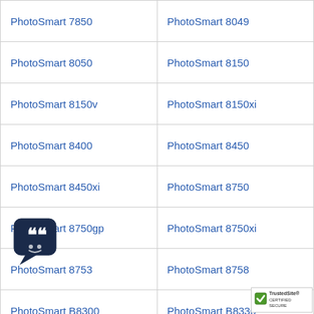| PhotoSmart 7850 | PhotoSmart 8049 |
| PhotoSmart 8050 | PhotoSmart 8150 |
| PhotoSmart 8150v | PhotoSmart 8150xi |
| PhotoSmart 8400 | PhotoSmart 8450 |
| PhotoSmart 8450xi | PhotoSmart 8750 |
| PhotoSmart 8750gp | PhotoSmart 8750xi |
| PhotoSmart 8753 | PhotoSmart 8758 |
| PhotoSmart B8300 | PhotoSmart B8330 |
| PhotoSmart B8338 | PhotoSmart B8350 |
| PhotoSmart B8353 | PhotoSmart C3100 |
| PhotoSmart C3110 | PhotoSmart C3125 |
[Figure (other): Chat/quote bubble icon badge overlay at bottom left]
[Figure (other): TrustedSite Certified Secure badge at bottom right]